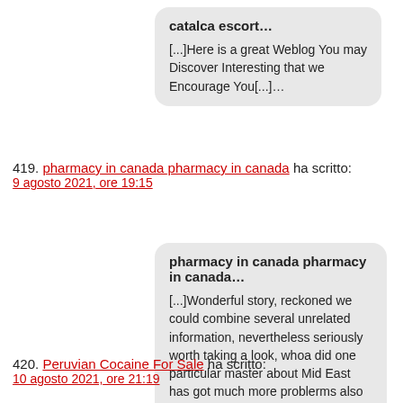catalca escort...

[...]Here is a great Weblog You may Discover Interesting that we Encourage You[...]...
419. pharmacy in canada pharmacy in canada ha scritto:
9 agosto 2021, ore 19:15
pharmacy in canada pharmacy in canada...

[...]Wonderful story, reckoned we could combine several unrelated information, nevertheless seriously worth taking a look, whoa did one particular master about Mid East has got much more problerms also [...]...
420. Peruvian Cocaine For Sale ha scritto:
10 agosto 2021, ore 21:19